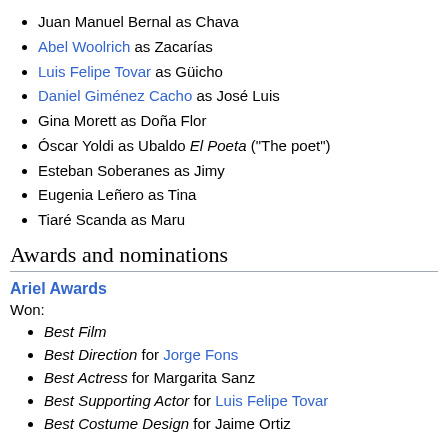Juan Manuel Bernal as Chava
Abel Woolrich as Zacarías
Luis Felipe Tovar as Güicho
Daniel Giménez Cacho as José Luis
Gina Morett as Doña Flor
Óscar Yoldi as Ubaldo El Poeta ("The poet")
Esteban Soberanes as Jimy
Eugenia Leñero as Tina
Tiaré Scanda as Maru
Awards and nominations
Ariel Awards
Won:
Best Film
Best Direction for Jorge Fons
Best Actress for Margarita Sanz
Best Supporting Actor for Luis Felipe Tovar
Best Costume Design for Jaime Ortiz